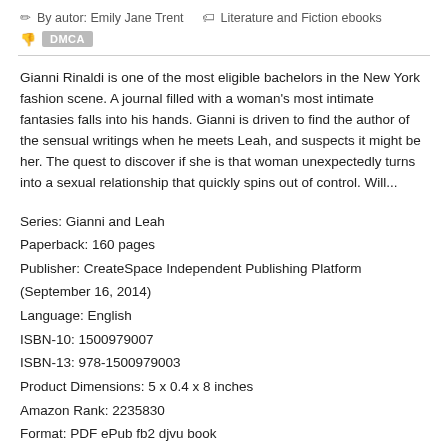By autor: Emily Jane Trent   Literature and Fiction ebooks
DMCA
Gianni Rinaldi is one of the most eligible bachelors in the New York fashion scene. A journal filled with a woman's most intimate fantasies falls into his hands. Gianni is driven to find the author of the sensual writings when he meets Leah, and suspects it might be her. The quest to discover if she is that woman unexpectedly turns into a sexual relationship that quickly spins out of control. Will...
Series: Gianni and Leah
Paperback: 160 pages
Publisher: CreateSpace Independent Publishing Platform (September 16, 2014)
Language: English
ISBN-10: 1500979007
ISBN-13: 978-1500979003
Product Dimensions: 5 x 0.4 x 8 inches
Amazon Rank: 2235830
Format: PDF ePub fb2 djvu book